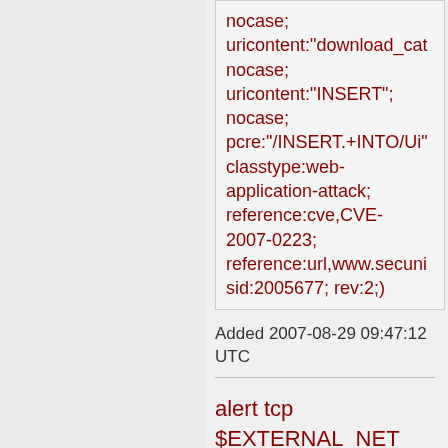nocase; uricontent:"download_cat nocase; uricontent:"INSERT"; nocase; pcre:"/INSERT.+INTO/Ui" classtype:web-application-attack; reference:cve,CVE-2007-0223; reference:url,www.secuni sid:2005677; rev:2;)
Added 2007-08-29 09:47:12 UTC
alert tcp $EXTERNAL_NET any -> $HTTP_SERVERS